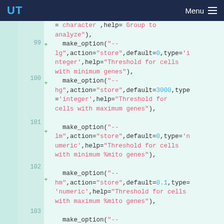UT | Menu
= character ,help= Group to analyze"),
99 + make_option("--lg",action="store",default=0,type='integer',help="Threshold for cells with minimum genes"),
100 + make_option("--hg",action="store",default=3000,type='integer',help="Threshold for cells with maximum genes"),
101 + make_option("--lm",action="store",default=0,type='numeric',help="Threshold for cells with minimum %mito genes"),
102 + make_option("--hm",action="store",default=0.1,type='numeric',help="Threshold for cells with maximum %mito genes"),
103 + make_option("--lx",action="store",default=0.2,type='numeric',help="x low threshold for